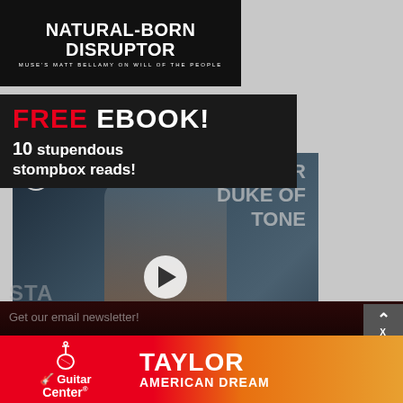[Figure (photo): Dark banner with text: NATURAL-BORN DISRUPTOR, subtitle: MUSE'S MATT BELLAMY ON WILL OF THE PEOPLE]
[Figure (infographic): FREE EBOOK! 10 stupendous stompbox reads! promotional banner on dark background]
[Figure (screenshot): PG Presents video thumbnail: MXR DUKE OF TONE - First Look video with play button, featuring person holding guitar]
[Figure (infographic): Guitar Center advertisement: Taylor American Dream - red and orange gradient banner with Guitar Center logo]
Get our email newsletter!
STA